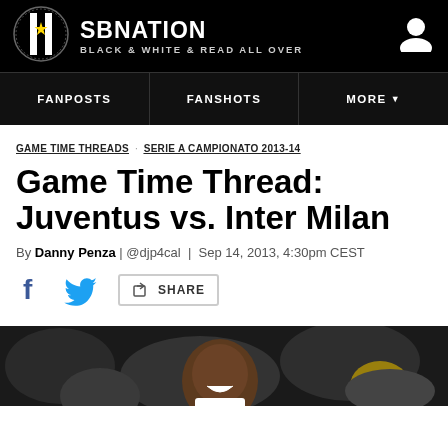SBNATION BLACK & WHITE & READ ALL OVER
FANPOSTS | FANSHOTS | MORE
GAME TIME THREADS   SERIE A CAMPIONATO 2013-14
Game Time Thread: Juventus vs. Inter Milan
By Danny Penza | @djp4cal | Sep 14, 2013, 4:30pm CEST
[Figure (other): Social share icons: Facebook, Twitter, and generic share button with SHARE label]
[Figure (photo): Photo of a smiling footballer (likely Arturo Vidal) celebrating, with crowd in background]